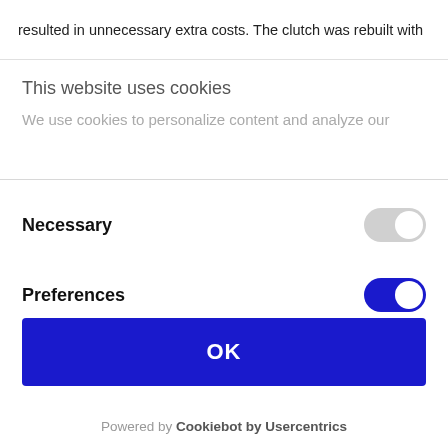resulted in unnecessary extra costs. The clutch was rebuilt with
This website uses cookies
We use cookies to personalize content and analyze our
Necessary
Preferences
Statistics
OK
Powered by Cookiebot by Usercentrics